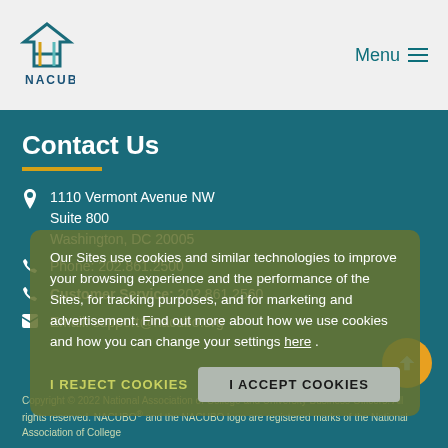[Figure (logo): NACUBO logo with diamond/house icon and text NACUBO below]
Menu ≡
Contact Us
1110 Vermont Avenue NW
Suite 800
Washington, DC 20005
Phone: 202.861.2500
Customer Service: 202.861.2560
Email: support@nacubo.org
Our Sites use cookies and similar technologies to improve your browsing experience and the performance of the Sites, for tracking purposes, and for marketing and advertisement. Find out more about how we use cookies and how you can change your settings here .
I REJECT COOKIES
I ACCEPT COOKIES
Copyright © 2022 National Association of College and University Business Officers. All rights reserved. NACUBO® and the NACUBO logo are registered marks of the National Association of College